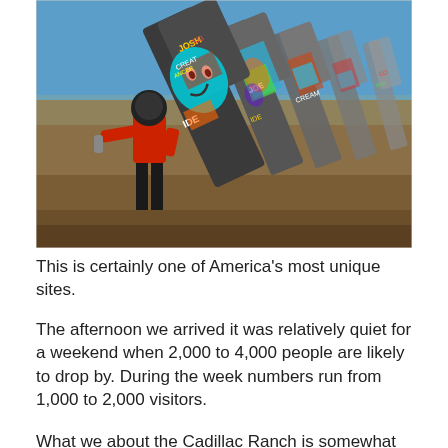[Figure (photo): A person in a red shirt spray-painting graffiti onto one of several old Cadillac cars buried nose-first in the ground at Cadillac Ranch, Amarillo, Texas. The cars are covered in colorful graffiti paint under a clear blue sky.]
This is certainly one of America's most unique sites.
The afternoon we arrived it was relatively quiet for a weekend when 2,000 to 4,000 people are likely to drop by. During the week numbers run from 1,000 to 2,000 visitors.
What we about the Cadillac Ranch is somewhat